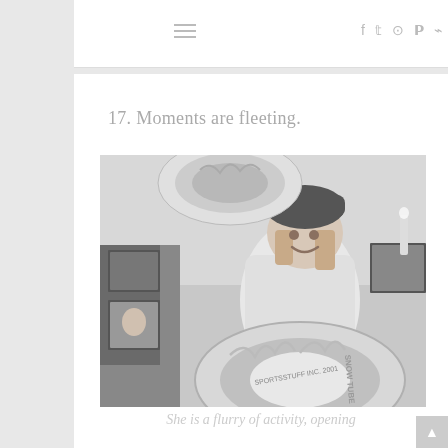≡  f  🐦  📷  P  ⌘
17. Moments are fleeting.
[Figure (photo): Black and white photo of a young woman wearing a winter hat and white jacket, smiling and holding large Sportsstuff snow tubes. Multiple inflatable snow tubes visible, with framed photos on the wall in the background.]
She is a flurry of activity, opening